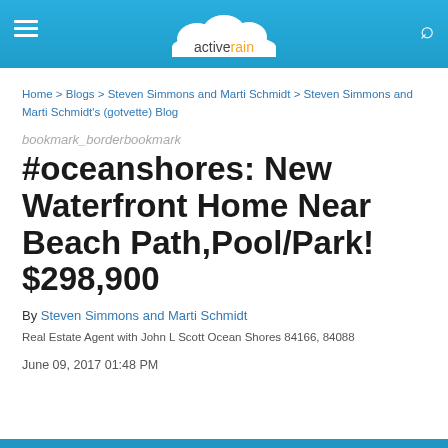activerain
Home > Blogs > Steven Simmons and Marti Schmidt > Steven Simmons and Marti Schmidt's (gotvette) Blog
bookmark_borderbookmark
#oceanshores: New Waterfront Home Near Beach Path,Pool/Park! $298,900
By Steven Simmons and Marti Schmidt
Real Estate Agent with John L Scott Ocean Shores 84166, 84088
June 09, 2017 01:48 PM